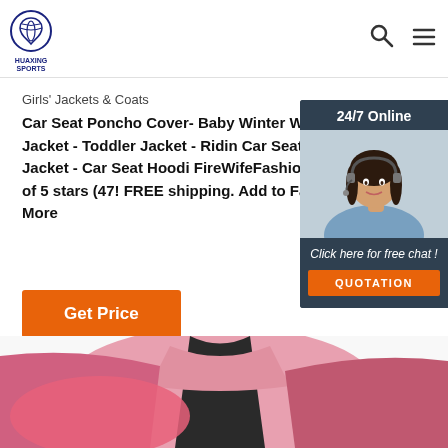HUAXING SPORTS — logo header with search and menu icons
Girls' Jackets & Coats
Car Seat Poncho Cover- Baby Winter Winter Jacket - Toddler Jacket - Riding Car Seat Safe Jacket - Car Seat Hoodi FireWifeFashions. 5 out of 5 stars (47! FREE shipping. Add to Favorites. More
Get Price
[Figure (photo): Customer service representative chat widget — woman with headset, '24/7 Online' header, 'Click here for free chat!' and 'QUOTATION' button]
[Figure (photo): Pink and dark children's jackets/coats product image at bottom of page]
TOP